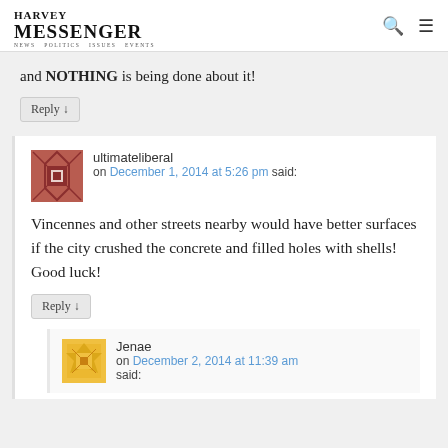Messenger
and NOTHING is being done about it!
Reply ↓
ultimateliberal on December 1, 2014 at 5:26 pm said:
Vincennes and other streets nearby would have better surfaces if the city crushed the concrete and filled holes with shells! Good luck!
Reply ↓
Jenae on December 2, 2014 at 11:39 am said: